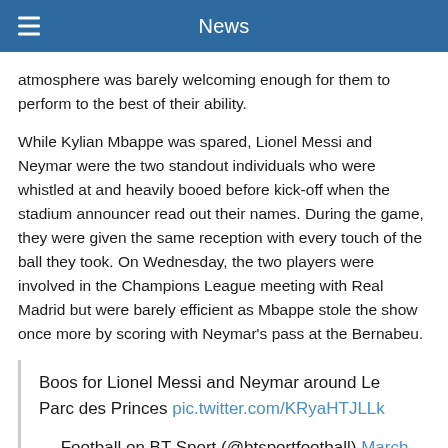News
atmosphere was barely welcoming enough for them to perform to the best of their ability.
While Kylian Mbappe was spared, Lionel Messi and Neymar were the two standout individuals who were whistled at and heavily booed before kick-off when the stadium announcer read out their names. During the game, they were given the same reception with every touch of the ball they took. On Wednesday, the two players were involved in the Champions League meeting with Real Madrid but were barely efficient as Mbappe stole the show once more by scoring with Neymar's pass at the Bernabeu.
Boos for Lionel Messi and Neymar around Le Parc des Princes pic.twitter.com/KRyaHTJLLk
— Football on BT Sport (@btsportfootball) March 13, 2022